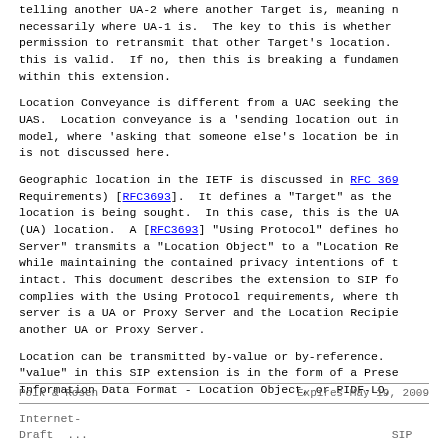telling another UA-2 where another Target is, meaning not necessarily where UA-1 is.  The key to this is whether permission to retransmit that other Target's location. this is valid.  If no, then this is breaking a fundamental within this extension.
Location Conveyance is different from a UAC seeking the UAS.  Location conveyance is a 'sending location out in model, where 'asking that someone else's location be in is not discussed here.
Geographic location in the IETF is discussed in RFC 3693 (Geopriv Requirements) [RFC3693].  It defines a "Target" as the entity whose location is being sought.  In this case, this is the UA (UA) location.  A [RFC3693] "Using Protocol" defines how a "Location Server" transmits a "Location Object" to a "Location Recipient" while maintaining the contained privacy intentions of the Target intact. This document describes the extension to SIP for complies with the Using Protocol requirements, where the Location server is a UA or Proxy Server and the Location Recipient is another UA or Proxy Server.
Location can be transmitted by-value or by-reference. "value" in this SIP extension is in the form of a Presence Information Data Format - Location Object, or PIDF-LO,
Polk & Rosen                     Expires May 19, 2009
Internet-Draft ...